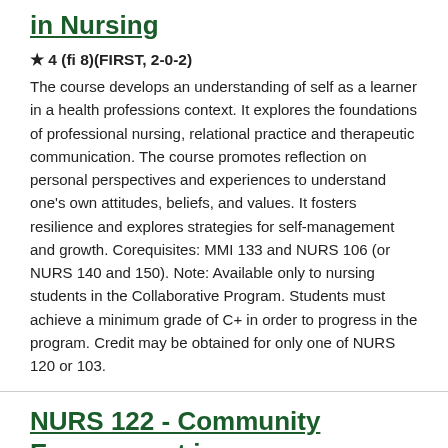in Nursing
★ 4 (fi 8)(FIRST, 2-0-2)
The course develops an understanding of self as a learner in a health professions context. It explores the foundations of professional nursing, relational practice and therapeutic communication. The course promotes reflection on personal perspectives and experiences to understand one's own attitudes, beliefs, and values. It fosters resilience and explores strategies for self-management and growth. Corequisites: MMI 133 and NURS 106 (or NURS 140 and 150). Note: Available only to nursing students in the Collaborative Program. Students must achieve a minimum grade of C+ in order to progress in the program. Credit may be obtained for only one of NURS 120 or 103.
NURS 122 - Community Engagement in